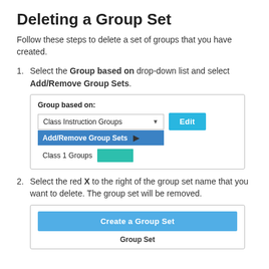Deleting a Group Set
Follow these steps to delete a set of groups that you have created.
Select the Group based on drop-down list and select Add/Remove Group Sets.
[Figure (screenshot): Screenshot showing 'Group based on:' label with a dropdown displaying 'Class Instruction Groups', an Edit button, and a dropdown menu open with 'Add/Remove Group Sets' highlighted in blue and 'Class 1 Groups' below it with a teal bar.]
Select the red X to the right of the group set name that you want to delete. The group set will be removed.
[Figure (screenshot): Screenshot showing a 'Create a Group Set' blue button and 'Group Set' label below it.]